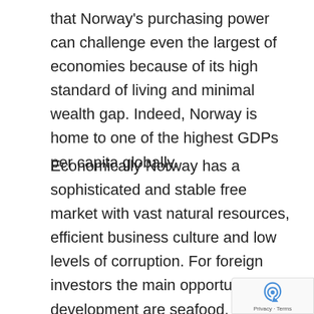that Norway's purchasing power can challenge even the largest of economies because of its high standard of living and minimal wealth gap. Indeed, Norway is home to one of the highest GDPs per capita globally.
Economically Norway has a sophisticated and stable free market with vast natural resources, efficient business culture and low levels of corruption. For foreign investors the main opportunities for development are seafood, timber and metal products, telecommunications, hydropower equipment and oil and gas. At present it is estimated that Norway has enough oil for next 50 years and gas for the next 100 years. A...